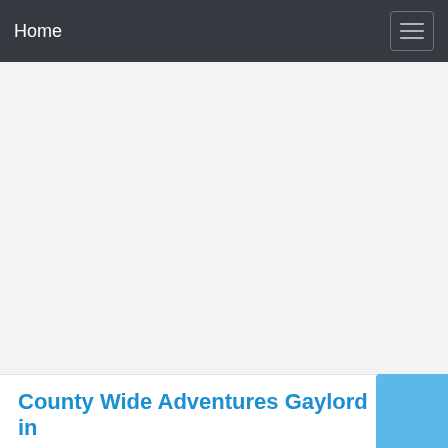Home
County Wide Adventures Gaylord in